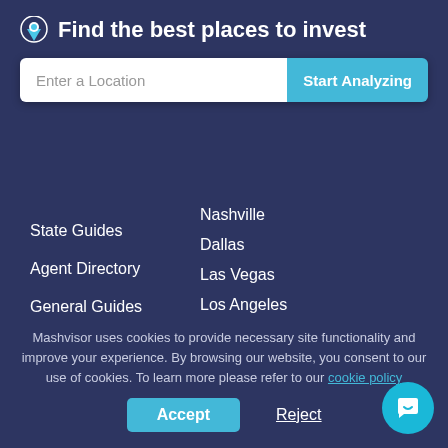Find the best places to invest
Enter a Location
Start Analyzing
State Guides
Agent Directory
General Guides
Sitemap
Nashville
Dallas
Las Vegas
Los Angeles
Orlando
Atlanta
San Francisco
Mashvisor uses cookies to provide necessary site functionality and improve your experience. By browsing our website, you consent to our use of cookies. To learn more please refer to our cookie policy
Accept
Reject